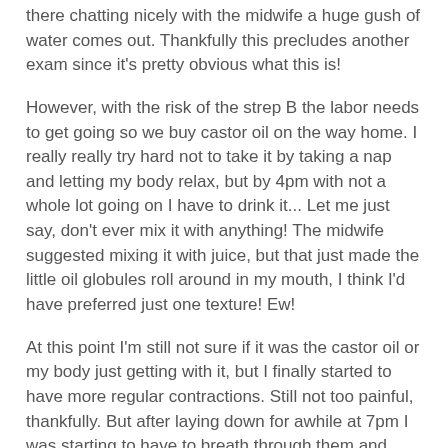there chatting nicely with the midwife a huge gush of water comes out. Thankfully this precludes another exam since it's pretty obvious what this is!
However, with the risk of the strep B the labor needs to get going so we buy castor oil on the way home. I really really try hard not to take it by taking a nap and letting my body relax, but by 4pm with not a whole lot going on I have to drink it... Let me just say, don't ever mix it with anything! The midwife suggested mixing it with juice, but that just made the little oil globules roll around in my mouth, I think I'd have preferred just one texture! Ew!
At this point I'm still not sure if it was the castor oil or my body just getting with it, but I finally started to have more regular contractions. Still not too painful, thankfully. But after laying down for awhile at 7pm I was starting to have to breath through them and although they didn't feel that long I think they were actually longer than a minute.
We called the midwife, who had a half hour drive, and arranged to meet her there at 8. While trying to get ready